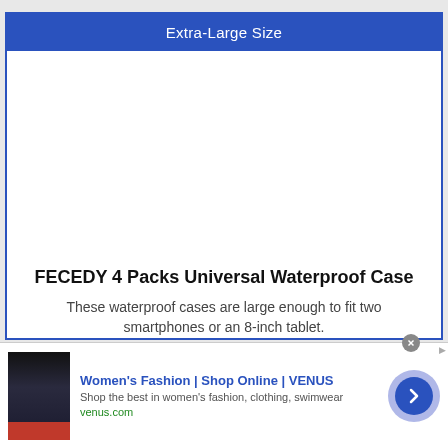Extra-Large Size
[Figure (photo): Product image area - blank white space where product photo would appear]
FECEDY 4 Packs Universal Waterproof Case
These waterproof cases are large enough to fit two smartphones or an 8-inch tablet.
[Figure (screenshot): Advertisement banner: Women's Fashion | Shop Online | VENUS - Shop the best in women's fashion, clothing, swimwear - venus.com]